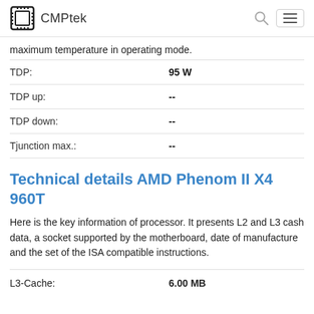CMPtek
maximum temperature in operating mode.
|  |  |
| --- | --- |
| TDP: | 95 W |
| TDP up: | -- |
| TDP down: | -- |
| Tjunction max.: | -- |
Technical details AMD Phenom II X4 960T
Here is the key information of processor. It presents L2 and L3 cash data, a socket supported by the motherboard, date of manufacture and the set of the ISA compatible instructions.
|  |  |
| --- | --- |
| L3-Cache: | 6.00 MB |